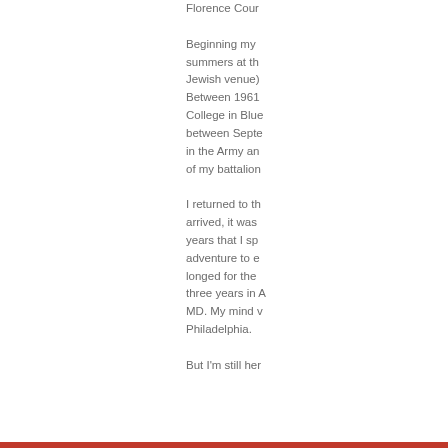Florence Cour...
Beginning my ... summers at th... Jewish venue)... Between 1961... College in Blue... between Septe... in the Army an... of my battalion...
I returned to th... arrived, it was... years that I sp... adventure to e... longed for the... three years in ... MD. My mind v... Philadelphia.
But I'm still her...